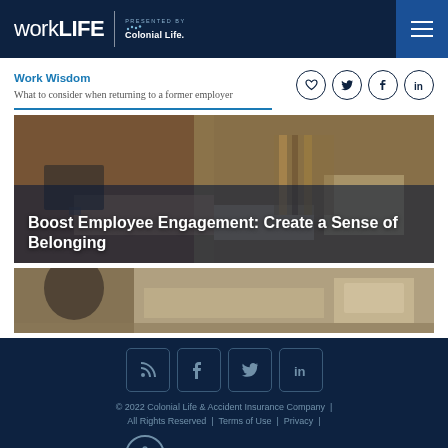workLIFE | PRESENTED BY Colonial Life
Work Wisdom
What to consider when returning to a former employer
[Figure (photo): Office scene with employees working at computers, overlaid with article title 'Boost Employee Engagement: Create a Sense of Belonging']
Boost Employee Engagement: Create a Sense of Belonging
[Figure (photo): Office scene showing a person from behind, blurred background with desk and wall art]
© 2022 Colonial Life & Accident Insurance Company | All Rights Reserved | Terms of Use | Privacy | Do Not Sell My Personal Information